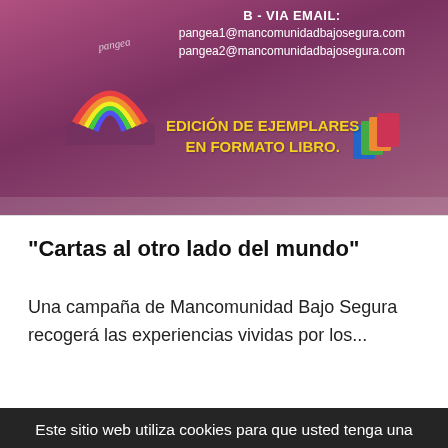[Figure (illustration): Website banner with purple/pink gradient background showing a rainbow illustration on the left, a books/notebook icon on the right, email addresses for pangea1 and pangea2 at mancomunidadbajosegura.com, and bold yellow text reading EDICIÓN DE EJEMPLARES EN FORMATO LIBRO.]
“Cartas al otro lado del mundo”
Una campaña de Mancomunidad Bajo Segura recogerá las experiencias vividas por los...
Este sitio web utiliza cookies para que usted tenga una mejor experiencia de usuario. Si continua navegando esta dando su consentimiento para la aceptación de las mencionadas cookies. Ajustes de Cookies
ACEPTAR